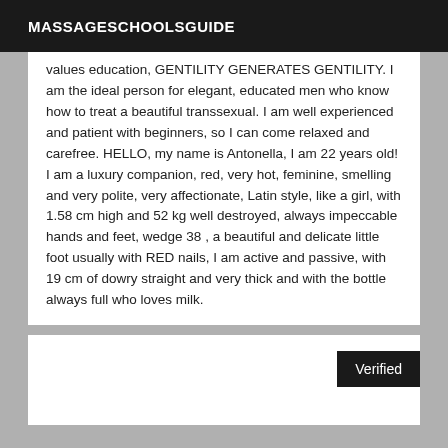MASSAGESCHOOLSGUIDE
values education, GENTILITY GENERATES GENTILITY. I am the ideal person for elegant, educated men who know how to treat a beautiful transsexual. I am well experienced and patient with beginners, so I can come relaxed and carefree. HELLO, my name is Antonella, I am 22 years old! I am a luxury companion, red, very hot, feminine, smelling and very polite, very affectionate, Latin style, like a girl, with 1.58 cm high and 52 kg well destroyed, always impeccable hands and feet, wedge 38 , a beautiful and delicate little foot usually with RED nails, I am active and passive, with 19 cm of dowry straight and very thick and with the bottle always full who loves milk.
[Figure (other): White box with Verified badge in top right corner]